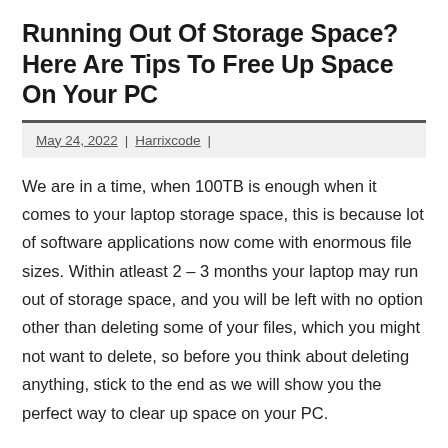Running Out Of Storage Space? Here Are Tips To Free Up Space On Your PC
May 24, 2022 | Harrixcode |
We are in a time, when 100TB is enough when it comes to your laptop storage space, this is because lot of software applications now come with enormous file sizes. Within atleast 2 – 3 months your laptop may run out of storage space, and you will be left with no option other than deleting some of your files, which you might not want to delete, so before you think about deleting anything, stick to the end as we will show you the perfect way to clear up space on your PC.